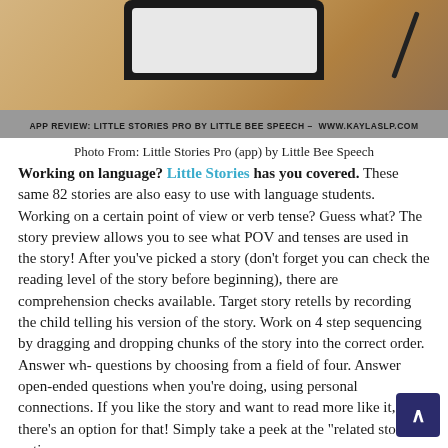[Figure (photo): Photo of a tablet device on a wooden desk with a pen, partially visible at top of page]
APP REVIEW: LITTLE STORIES PRO BY LITTLE BEE SPEECH – WWW.KAYLASLP.COM
Photo From: Little Stories Pro (app) by Little Bee Speech
Working on language? Little Stories has you covered. These same 82 stories are also easy to use with language students. Working on a certain point of view or verb tense? Guess what? The story preview allows you to see what POV and tenses are used in the story! After you've picked a story (don't forget you can check the reading level of the story before beginning), there are comprehension checks available. Target story retells by recording the child telling his version of the story. Work on 4 step sequencing by dragging and dropping chunks of the story into the correct order. Answer wh- questions by choosing from a field of four. Answer open-ended questions when you're doing, using personal connections. If you like the story and want to read more like it, there's an option for that! Simply take a peek at the "related stories" option.